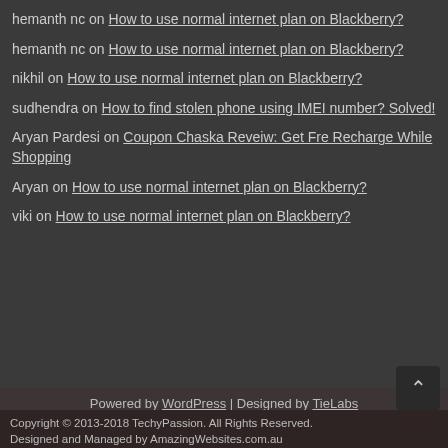hemanth nc on How to use normal internet plan on Blackberry?
hemanth nc on How to use normal internet plan on Blackberry?
nikhil on How to use normal internet plan on Blackberry?
sudhendra on How to find stolen phone using IMEI number? Solved!
Aryan Pardesi on Coupon Chaska Reveiw: Get Fre Recharge While Shopping
Aryan on How to use normal internet plan on Blackberry?
viki on How to use normal internet plan on Blackberry?
Powered by WordPress | Designed by TieLabs
⊃ © Copyright 2022, All Rights Reserved
Copyright © 2013-2018 TechyPassion. All Rights Reserved. Designed and Managed by AmazingWebsites.com.au